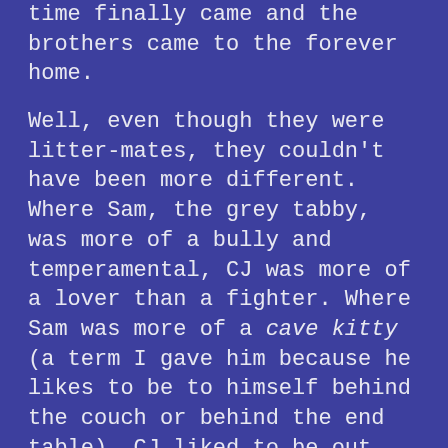was she told she had to find a home. The time finally came and the brothers came to the forever home.
Well, even though they were litter-mates, they couldn't have been more different. Where Sam, the grey tabby, was more of a bully and temperamental, CJ was more of a lover than a fighter. Where Sam was more of a cave kitty (a term I gave him because he likes to be to himself behind the couch or behind the end table), CJ liked to be out among his humans, laying near us, giving us the 'I love you' eyes.
Without going into every detail of their lives, that's how it went. He would come up to our bedroom door in the mornings, usually